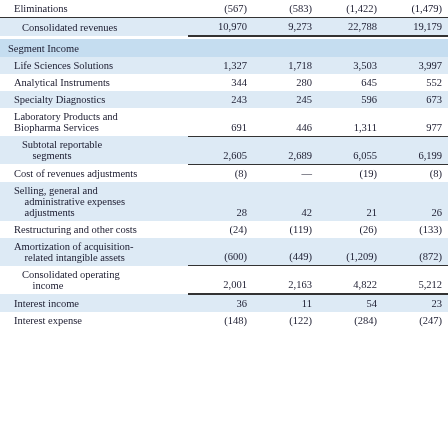|  | Col1 | Col2 | Col3 | Col4 |
| --- | --- | --- | --- | --- |
| Eliminations | (567) | (583) | (1,422) | (1,479) |
| Consolidated revenues | 10,970 | 9,273 | 22,788 | 19,179 |
| Segment Income |  |  |  |  |
| Life Sciences Solutions | 1,327 | 1,718 | 3,503 | 3,997 |
| Analytical Instruments | 344 | 280 | 645 | 552 |
| Specialty Diagnostics | 243 | 245 | 596 | 673 |
| Laboratory Products and Biopharma Services | 691 | 446 | 1,311 | 977 |
| Subtotal reportable segments | 2,605 | 2,689 | 6,055 | 6,199 |
| Cost of revenues adjustments | (8) | — | (19) | (8) |
| Selling, general and administrative expenses adjustments | 28 | 42 | 21 | 26 |
| Restructuring and other costs | (24) | (119) | (26) | (133) |
| Amortization of acquisition-related intangible assets | (600) | (449) | (1,209) | (872) |
| Consolidated operating income | 2,001 | 2,163 | 4,822 | 5,212 |
| Interest income | 36 | 11 | 54 | 23 |
| Interest expense | (148) | (122) | (284) | (247) |